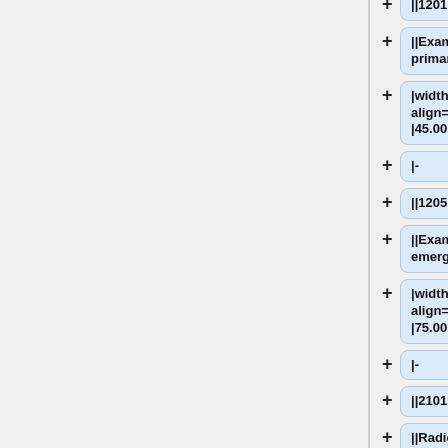||1201
||Exam, comp, primary
|width="10%" align="right"
|45.00
|-
||1205
||Exam, emergency
|width="10%" align="right"
|75.00
|-
||2101
||Radiograph,